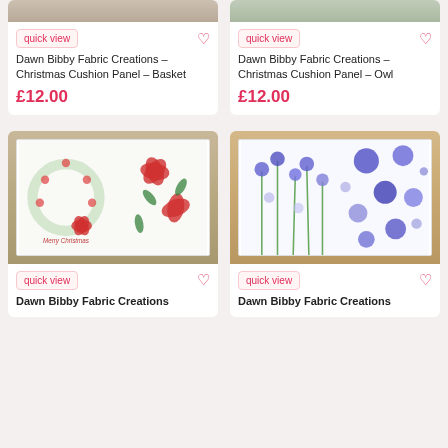[Figure (photo): Dawn Bibby Fabric Creations Christmas Cushion Panel Basket product image (cropped top)]
quick view
Dawn Bibby Fabric Creations – Christmas Cushion Panel – Basket
£12.00
[Figure (photo): Dawn Bibby Fabric Creations Christmas Cushion Panel Owl product image (cropped top)]
quick view
Dawn Bibby Fabric Creations – Christmas Cushion Panel – Owl
£12.00
[Figure (photo): Dawn Bibby Fabric Creations product - Christmas cushion panel with floral wreath design on wood background]
quick view
Dawn Bibby Fabric Creations
[Figure (photo): Dawn Bibby Fabric Creations product - blue floral cushion panel on orange/tan background]
quick view
Dawn Bibby Fabric Creations